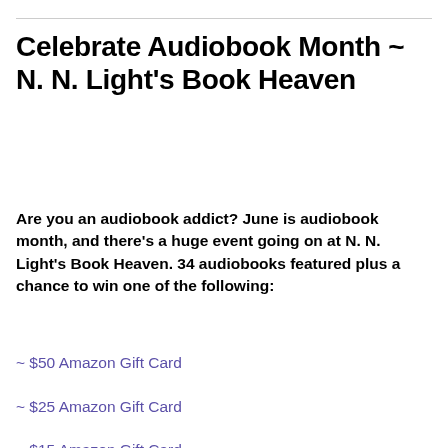Celebrate Audiobook Month ~ N. N. Light's Book Heaven
Are you an audiobook addict? June is audiobook month, and there's a huge event going on at N. N. Light's Book Heaven. 34 audiobooks featured plus a chance to win one of the following:
~ $50 Amazon Gift Card
~ $25 Amazon Gift Card
~ $15 Amazon Gift Card
~ $10 Amazon Gift Card